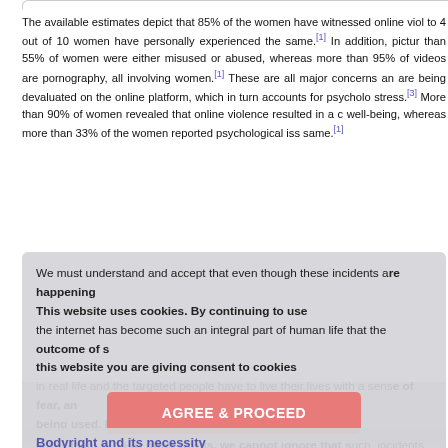The available estimates depict that 85% of the women have witnessed online viol... to 4 out of 10 women have personally experienced the same.[1] In addition, pictur... than 55% of women were either misused or abused, whereas more than 95% of... videos are pornography, all involving women.[1] These are all major concerns an... are being devaluated on the online platform, which in turn accounts for psycholo... stress.[3] More than 90% of women revealed that online violence resulted in a c... well-being, whereas more than 33% of the women reported psychological iss... same.[1]
We must understand and accept that even though these incidents are happening... the internet has become such an integral part of human life that the outcome of s... in real life and the targeted people have to live their lives with a sense of fear, an... self-esteem.[2][3] For other words, we cannot ignore that such incidents sign... prospects of their career and financial livelihood by damaging their dignity. In... violence has to be acknowledged as an important form of violation of human r... prioritized by all the concerned stakeholders for immediate attention and prompt a...
This website uses cookies. By continuing to use this website you are giving consent to cookies being used. For information on cookies and how you can disable them visit our Privacy and Cookie Policy
AGREE & PROCEED
Bodyright and its necessity